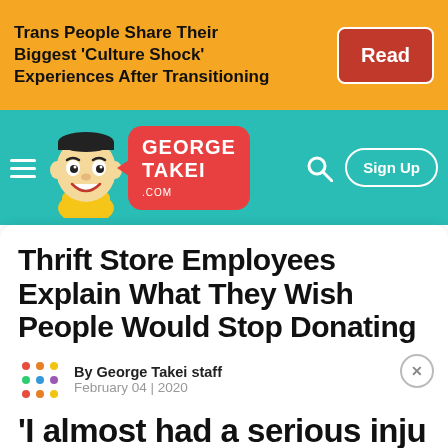[Figure (infographic): Yellow banner advertisement for article about Trans People sharing Culture Shock experiences with a red Read button]
[Figure (logo): GeorgeTakei.com website navigation bar with teal background, cartoon mascot, logo bubble, search icon, and Sign Up button]
Thrift Store Employees Explain What They Wish People Would Stop Donating
By George Takei staff
February 04 | 2020
'I almost had a serious inju